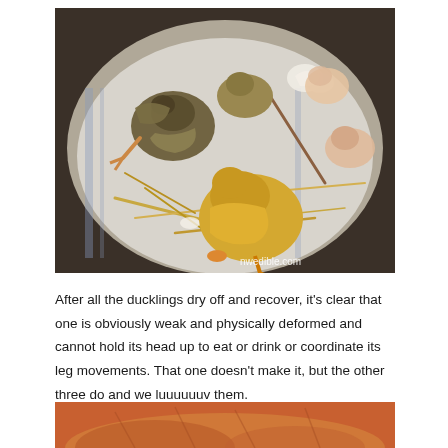[Figure (photo): Overhead view of newly hatched ducklings lying on a cloth in a metal bowl surrounded by straw and eggshells. Some ducklings appear wet and weak, one is golden/yellow, others are darker. A watermark reads 'nwedible.com'.]
After all the ducklings dry off and recover, it's clear that one is obviously weak and physically deformed and cannot hold its head up to eat or drink or coordinate its leg movements. That one doesn't make it, but the other three do and we luuuuuuv them.
[Figure (photo): Partial view of what appears to be an orange/reddish animal, likely a duckling or chick, cropped at the bottom of the page.]